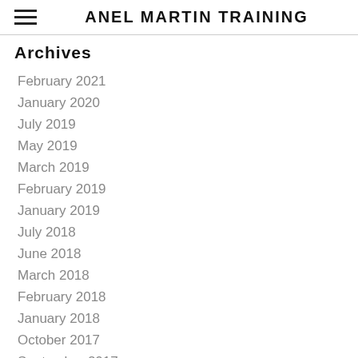ANEL MARTIN TRAINING
Archives
February 2021
January 2020
July 2019
May 2019
March 2019
February 2019
January 2019
July 2018
June 2018
March 2018
February 2018
January 2018
October 2017
September 2017
November 2016
September 2016
August 2016